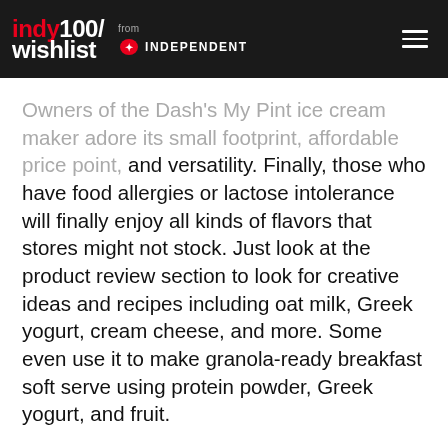indy100/wishlist from INDEPENDENT
Owners of the Dash's My Pint ice cream maker adore its small footprint, affordable price point, and versatility. Finally, those who have food allergies or lactose intolerance will finally enjoy all kinds of flavors that stores might not stock. Just look at the product review section to look for creative ideas and recipes including oat milk, Greek yogurt, cream cheese, and more. Some even use it to make granola-ready breakfast soft serve using protein powder, Greek yogurt, and fruit.
Most users prefer the taste of fresh homemade ice cream over store-bought and other ice cream makers on the market thanks to its easy-to-use